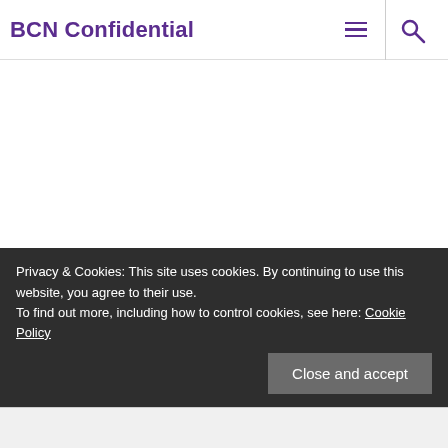BCN Confidential
Privacy & Cookies: This site uses cookies. By continuing to use this website, you agree to their use.
To find out more, including how to control cookies, see here: Cookie Policy
Close and accept